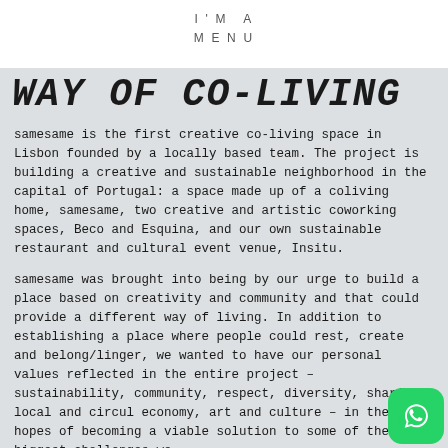I'M A
MENU
WAY OF CO-LIVING
samesame is the first creative co-living space in Lisbon founded by a locally based team. The project is building a creative and sustainable neighborhood in the capital of Portugal: a space made up of a coliving home, samesame, two creative and artistic coworking spaces, Beco and Esquina, and our own sustainable restaurant and cultural event venue, Insitu.
samesame was brought into being by our urge to build a place based on creativity and community and that could provide a different way of living. In addition to establishing a place where people could rest, create and belong/linger, we wanted to have our personal values reflected in the entire project – sustainability, community, respect, diversity, sharing, local and circular economy, art and culture – in the hopes of becoming a viable solution to some of the biggest challenges we